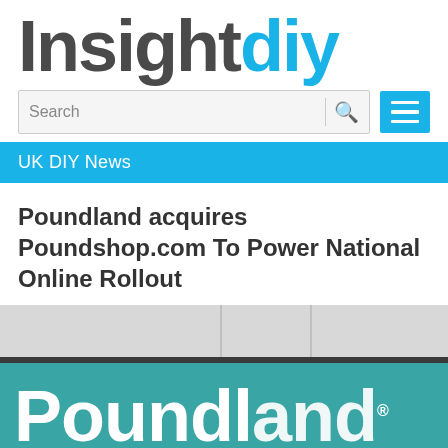[Figure (logo): InsightDIY logo with 'Insight' in dark grey and 'diy' in cyan/blue]
[Figure (screenshot): Search bar with placeholder text 'Search', a divider, and a blue magnifying glass icon, next to a blue hamburger menu button]
UK DIY News
Poundland acquires Poundshop.com To Power National Online Rollout
[Figure (photo): Photo of a Poundland store sign — large white 'Poundland' text on teal background, with grey building facade above and yellow strip at bottom]